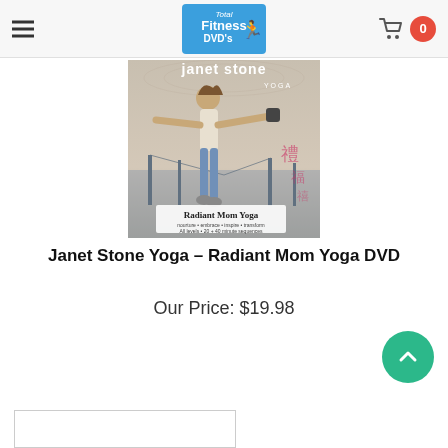Total Fitness DVD's — Navigation and Cart
[Figure (photo): Janet Stone Yoga - Radiant Mom Yoga DVD cover showing a woman in a yoga pose with a bridge in the background]
Janet Stone Yoga - Radiant Mom Yoga DVD
Our Price: $19.98